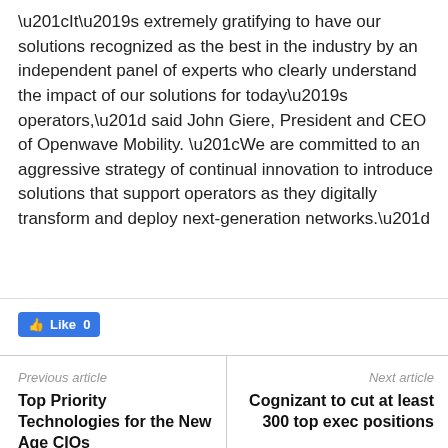“It’s extremely gratifying to have our solutions recognized as the best in the industry by an independent panel of experts who clearly understand the impact of our solutions for today’s operators,” said John Giere, President and CEO of Openwave Mobility. “We are committed to an aggressive strategy of continual innovation to introduce solutions that support operators as they digitally transform and deploy next-generation networks.”
[Figure (other): Facebook Like button showing 0 likes]
Previous article | Top Priority Technologies for the New Age CIOs | Next article | Cognizant to cut at least 300 top exec positions